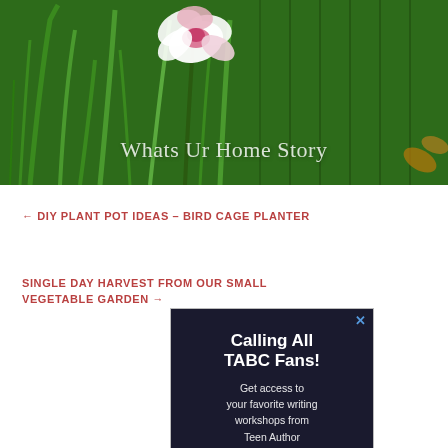[Figure (photo): Blog header image showing a pink and white flower (gladiolus or orchid) with green grass/leaves in background and a fence. Text overlay reads 'Whats Ur Home Story' in white serif font.]
← DIY PLANT POT IDEAS – BIRD CAGE PLANTER
SINGLE DAY HARVEST FROM OUR SMALL VEGETABLE GARDEN →
[Figure (screenshot): Advertisement with dark background reading 'Calling All TABC Fans! Get access to your favorite writing workshops from Teen Author']